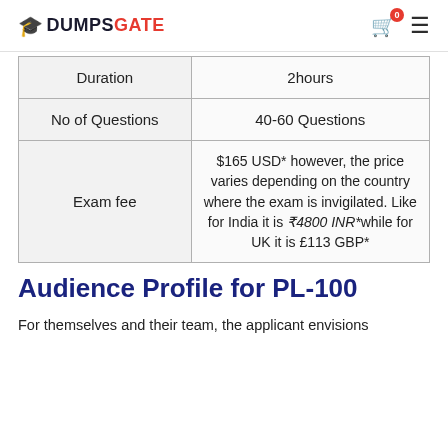DUMPSGATE
| Duration | 2hours |
| No of Questions | 40-60 Questions |
| Exam fee | $165 USD* however, the price varies depending on the country where the exam is invigilated. Like for India it is ₹4800 INR*while for UK it is £113 GBP* |
Audience Profile for PL-100
For themselves and their team, the applicant envisions